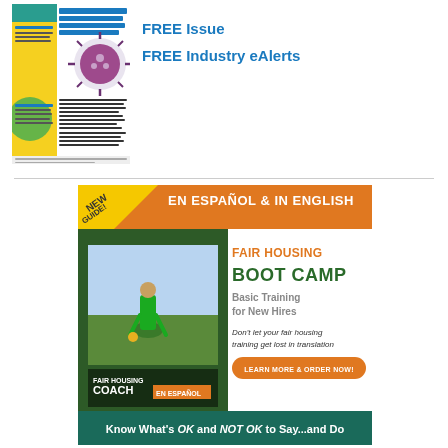[Figure (illustration): Magazine cover showing 'Prepared for a Possible COVID-19 Pandemic?' with purple coronavirus illustration on yellow/white background]
FREE Issue
FREE Industry eAlerts
[Figure (illustration): Advertisement for Fair Housing Boot Camp - En Español & In English. Shows Fair Housing Coach book cover with soccer player image. Text: FAIR HOUSING BOOT CAMP, Basic Training for New Hires, Don't let your fair housing training get lost in translation, LEARN MORE & ORDER NOW!, Know What's OK and NOT OK to Say...and Do]